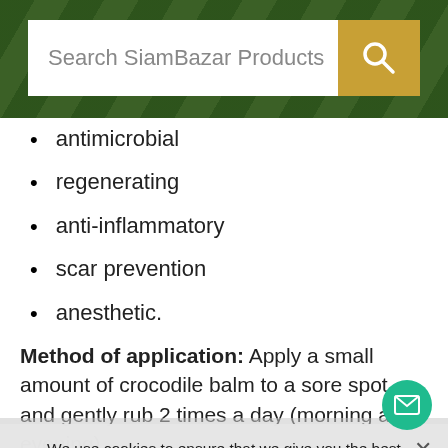Search SiamBazar Products
antimicrobial
regenerating
anti-inflammatory
scar prevention
anesthetic.
Method of application: Apply a small amount of crocodile balm to a sore spot and gently rub 2 times a day (morning and evening).
Attention!
We use cookies to ensure that we give you the best experience on our website. If you continue to use this site we will assume that you are happy with it.